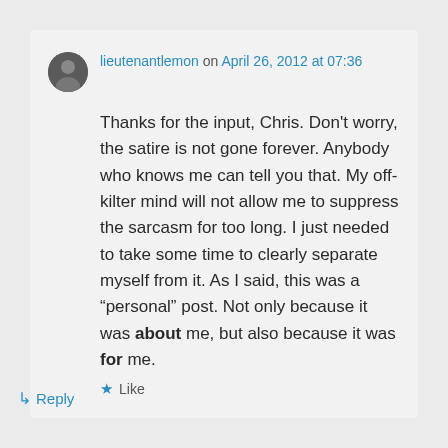lieutenantlemon on April 26, 2012 at 07:36
Thanks for the input, Chris. Don't worry, the satire is not gone forever. Anybody who knows me can tell you that. My off-kilter mind will not allow me to suppress the sarcasm for too long. I just needed to take some time to clearly separate myself from it. As I said, this was a “personal” post. Not only because it was about me, but also because it was for me.
★ Like
↳ Reply